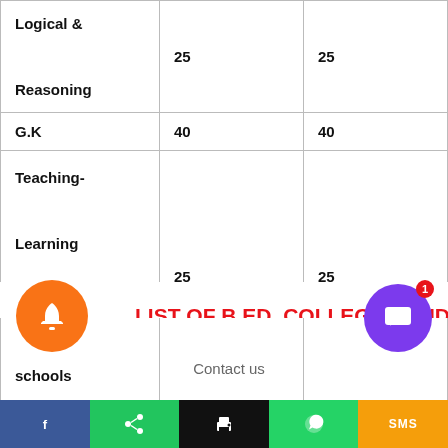| Logical &
Reasoning | 25 | 25 |
| G.K | 40 | 40 |
| Teaching-
Learning
Enviroment in
schools | 25 | 25 |
LIST OF B.ED. COLLEGES UNDER